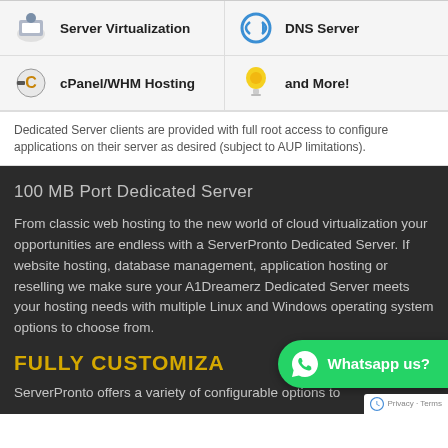Server Virtualization
DNS Server
cPanel/WHM Hosting
and More!
Dedicated Server clients are provided with full root access to configure applications on their server as desired (subject to AUP limitations).
100 MB Port Dedicated Server
From classic web hosting to the new world of cloud virtualization your opportunities are endless with a ServerPronto Dedicated Server. If website hosting, database management, application hosting or reselling we make sure your A1Dreamerz Dedicated Server meets your hosting needs with multiple Linux and Windows operating system options to choose from.
FULLY CUSTOMIZA
ServerPronto offers a variety of configurable options to